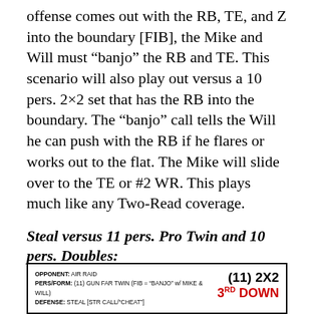offense comes out with the RB, TE, and Z into the boundary [FIB], the Mike and Will must “banjo” the RB and TE. This scenario will also play out versus a 10 pers. 2×2 set that has the RB into the boundary. The “banjo” call tells the Will he can push with the RB if he flares or works out to the flat. The Mike will slide over to the TE or #2 WR. This plays much like any Two-Read coverage.
Steal versus 11 pers. Pro Twin and 10 pers. Doubles:
Pro Twin –
| OPPONENT | PERS/FORM | DEFENSE | Formation | Down |
| --- | --- | --- | --- | --- |
| AIR RAID | (11) GUN FAR TWIN (FIB = "BANJO" w/ MIKE & WILL) | STEAL [STR CALL/"CHEAT"] | (11) 2X2 | 3RD DOWN |